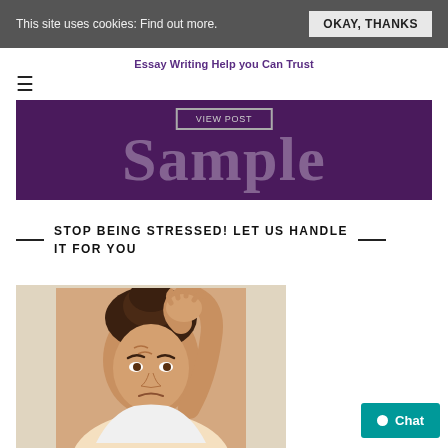This site uses cookies: Find out more. OKAY, THANKS
Essay Writing Help you Can Trust
[Figure (other): Hamburger menu icon (three horizontal lines)]
[Figure (other): Purple banner with VIEW POST button overlay and large semi-transparent 'Sample' text]
STOP BEING STRESSED! LET US HANDLE IT FOR YOU
[Figure (photo): Woman looking stressed, grabbing her hair with a worried expression]
Chat